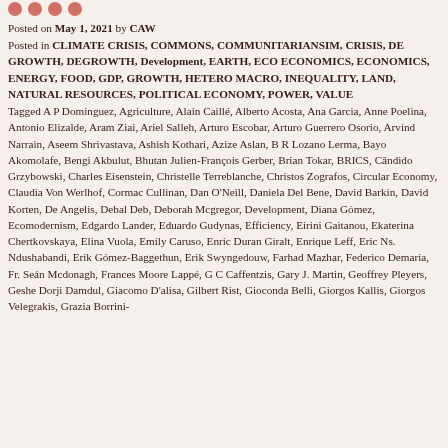Posted on May 1, 2021 by CAW
Posted in CLIMATE CRISIS, COMMONS, COMMUNITARIANSIM, CRISIS, DE GROWTH, DEGROWTH, Development, EARTH, ECO ECONOMICS, ECONOMICS, ENERGY, FOOD, GDP, GROWTH, HETERO MACRO, INEQUALITY, LAND, NATURAL RESOURCES, POLITICAL ECONOMY, POWER, VALUE
Tagged A P Dominguez, Agriculture, Alain Caillé, Alberto Acosta, Ana Garcia, Anne Poelina, Antonio Elizalde, Aram Ziai, Ariel Salleh, Arturo Escobar, Arturo Guerrero Osorio, Arvind Narrain, Aseem Shrivastava, Ashish Kothari, Azize Aslan, B R Lozano Lerma, Bayo Akomolafe, Bengi Akbulut, Bhutan Julien-François Gerber, Brian Tokar, BRICS, Cândido Grzybowski, Charles Eisenstein, Christelle Terreblanche, Christos Zografos, Circular Economy, Claudia Von Werlhof, Cormac Cullinan, Dan O'Neill, Daniela Del Bene, David Barkin, David Korten, De Angelis, Debal Deb, Deborah Mcgregor, Development, Diana Gómez, Ecomodernism, Edgardo Lander, Eduardo Gudynas, Efficiency, Eirini Gaitanou, Ekaterina Chertkovskaya, Elina Vuola, Emily Caruso, Enric Duran Giralt, Enrique Leff, Eric Ns. Ndushabandi, Erik Gómez-Baggethun, Erik Swyngedouw, Farhad Mazhar, Federico Demaria, Fr. Seán Mcdonagh, Frances Moore Lappé, G C Caffentzis, Gary J. Martin, Geoffrey Pleyers, Geshe Dorji Damdul, Giacomo D'alisa, Gilbert Rist, Gioconda Belli, Giorgos Kallis, Giorgos Velegrakis, Grazia Borrini-